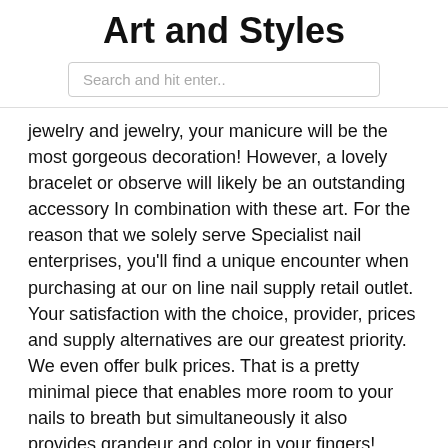Art and Styles
Search and hit enter..
jewelry and jewelry, your manicure will be the most gorgeous decoration! However, a lovely bracelet or observe will likely be an outstanding accessory In combination with these art. For the reason that we solely serve Specialist nail enterprises, you'll find a unique encounter when purchasing at our on line nail supply retail outlet. Your satisfaction with the choice, provider, prices and supply alternatives are our greatest priority. We even offer bulk prices. That is a pretty minimal piece that enables more room to your nails to breath but simultaneously it also provides grandeur and color in your fingers! Nothing beats the classic black and white themed nail artwork. You can go tasteful but hip and funky with this enjoyment nevertheless satisfying nail art design. The gold beads help accentuate the nails and insert glamour to them. The black and white acrylic combination does a fantastic job of making that genuine glimpse. To build this 50 % moon manicure, paint your nails with a nude for the base. After making use of the reinforcement stickers near your cuticles